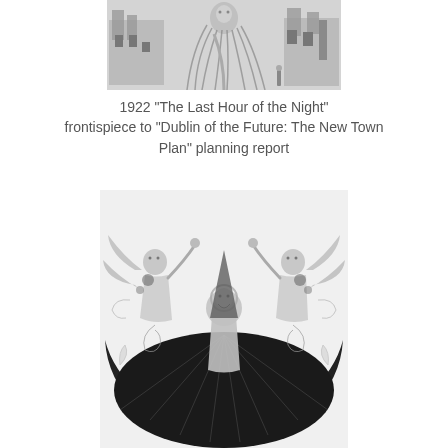[Figure (illustration): Black and white illustration: a central figure with long flowing hair surrounded by architectural structures on left and right, appearing to be a historical artwork.]
1922 "The Last Hour of the Night" frontispiece to "Dublin of the Future: The New Town Plan" planning report
[Figure (illustration): Black and white illustration: symmetrical Art Nouveau style image featuring two winged angel or muse figures flanking a central robed figure with a halo, all arranged around a large dark circular/fan shape at the bottom.]